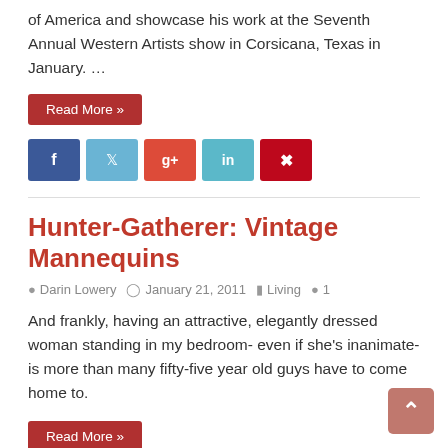of America and showcase his work at the Seventh Annual Western Artists show in Corsicana, Texas in January. …
Read More »
[Figure (other): Social share buttons: Facebook, Twitter, Google+, LinkedIn, Pinterest]
Hunter-Gatherer: Vintage Mannequins
Darin Lowery  January 21, 2011  Living  1
And frankly, having an attractive, elegantly dressed woman standing in my bedroom- even if she's inanimate- is more than many fifty-five year old guys have to come home to.
Read More »
[Figure (other): Social share buttons: Facebook, Twitter, Google+, LinkedIn, Pinterest]
Finding magic in clearing the clutter